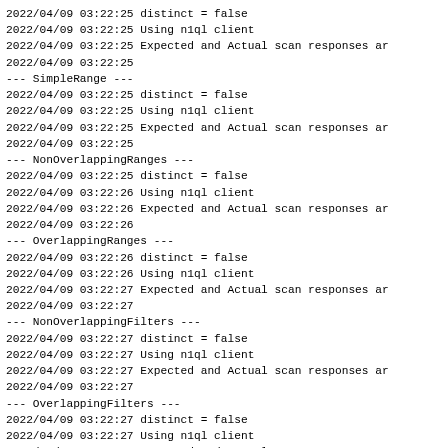2022/04/09 03:22:25 distinct = false
2022/04/09 03:22:25 Using n1ql client
2022/04/09 03:22:25 Expected and Actual scan responses ar
2022/04/09 03:22:25
--- SimpleRange ---
2022/04/09 03:22:25 distinct = false
2022/04/09 03:22:25 Using n1ql client
2022/04/09 03:22:25 Expected and Actual scan responses ar
2022/04/09 03:22:25
--- NonOverlappingRanges ---
2022/04/09 03:22:25 distinct = false
2022/04/09 03:22:26 Using n1ql client
2022/04/09 03:22:26 Expected and Actual scan responses ar
2022/04/09 03:22:26
--- OverlappingRanges ---
2022/04/09 03:22:26 distinct = false
2022/04/09 03:22:26 Using n1ql client
2022/04/09 03:22:27 Expected and Actual scan responses ar
2022/04/09 03:22:27
--- NonOverlappingFilters ---
2022/04/09 03:22:27 distinct = false
2022/04/09 03:22:27 Using n1ql client
2022/04/09 03:22:27 Expected and Actual scan responses ar
2022/04/09 03:22:27
--- OverlappingFilters ---
2022/04/09 03:22:27 distinct = false
2022/04/09 03:22:27 Using n1ql client
2022/04/09 03:22:27 Expected and Actual scan responses ar
2022/04/09 03:22:27
--- BoundaryFilters ---
2022/04/09 03:22:27 distinct = false